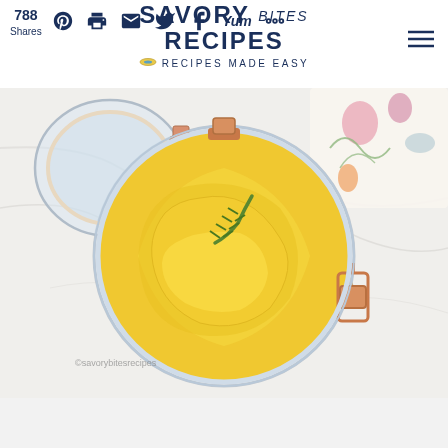788 Shares — Savory Bites Recipes — Recipes Made Easy
[Figure (photo): Top-down view of an open glass jar with copper/rose-gold metal latch closure, filled with yellow pineapple chunks and a green herb (rosemary), sitting on a wooden trivet on a white marble surface. A colorful floral fabric is visible in the upper right corner.]